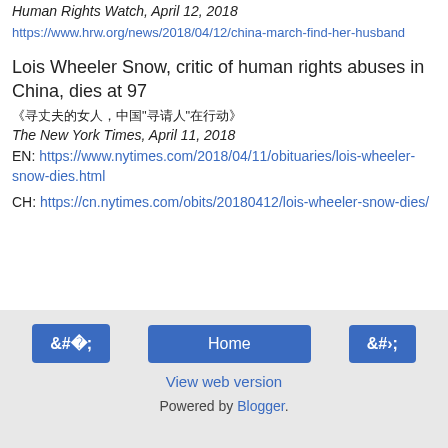Human Rights Watch, April 12, 2018
https://www.hrw.org/news/2018/04/12/china-march-find-her-husband
Lois Wheeler Snow, critic of human rights abuses in China, dies at 97
《呗寻丈夫的女人，中国“寻请人”在行动中》
The New York Times, April 11, 2018
EN: https://www.nytimes.com/2018/04/11/obituaries/lois-wheeler-snow-dies.html
CH: https://cn.nytimes.com/obits/20180412/lois-wheeler-snow-dies/
‹   Home   ›   View web version   Powered by Blogger.